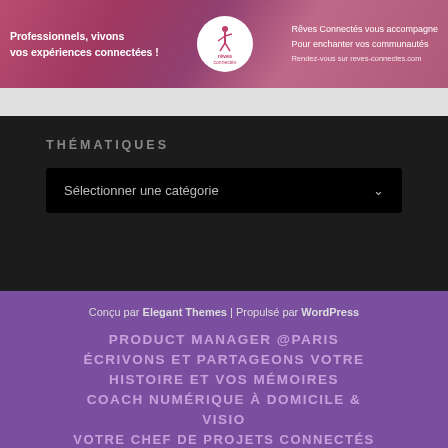[Figure (illustration): Banner ad for 'Rêves Connectés' showing pink/magenta gradient background with white text on left 'Professionnels, vivons vos expériences connectées!', a circular logo in the center, and text on the right 'Rêves Connectés vous accompagne Pour enchanter vos communautés. Rendez-vous sur reves-connectes.com']
THÉMATIQUES
Sélectionner une catégorie
Conçu par Elegant Themes | Propulsé par WordPress
PRODUCT MANAGER @PARIS
ÉCRIVONS ET PARTAGEONS VOTRE HISTOIRE ET VOS MÉMOIRES
COACH NUMÉRIQUE À DOMICILE & VISIO
VOTRE CHEF DE PROJETS CONNECTÉS